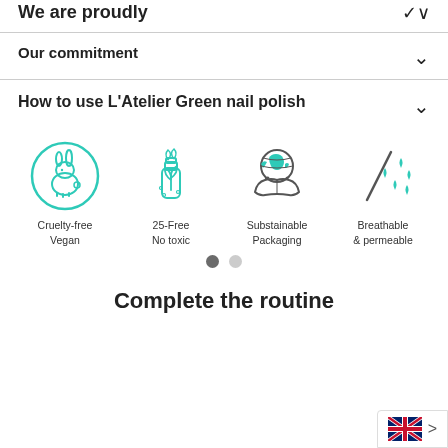We are proudly
Our commitment
How to use L'Atelier Green nail polish
[Figure (infographic): Four icons in a row: 1) Cruelty-free Vegan - rabbit in a circle (teal outline), 2) 25-Free No toxic - plant in a bottle (teal), 3) Substainable Packaging - hands holding earth globe (teal/grey), 4) Breathable & permeable - water drops with a diagonal line (teal)]
Cruelty-free Vegan
25-Free No toxic
Substainable Packaging
Breathable & permeable
Complete the routine